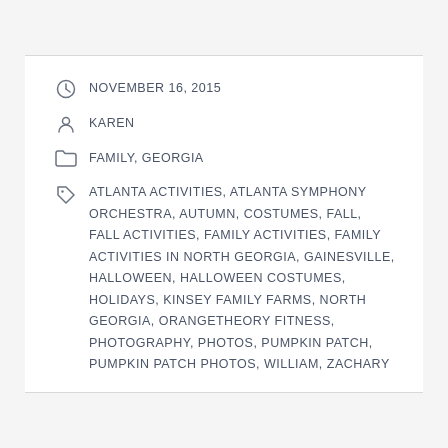NOVEMBER 16, 2015
KAREN
FAMILY, GEORGIA
ATLANTA ACTIVITIES, ATLANTA SYMPHONY ORCHESTRA, AUTUMN, COSTUMES, FALL, FALL ACTIVITIES, FAMILY ACTIVITIES, FAMILY ACTIVITIES IN NORTH GEORGIA, GAINESVILLE, HALLOWEEN, HALLOWEEN COSTUMES, HOLIDAYS, KINSEY FAMILY FARMS, NORTH GEORGIA, ORANGETHEORY FITNESS, PHOTOGRAPHY, PHOTOS, PUMPKIN PATCH, PUMPKIN PATCH PHOTOS, WILLIAM, ZACHARY